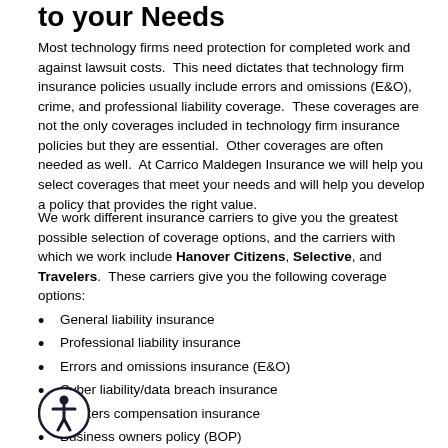to your Needs
Most technology firms need protection for completed work and against lawsuit costs.  This need dictates that technology firm insurance policies usually include errors and omissions (E&O), crime, and professional liability coverage.  These coverages are not the only coverages included in technology firm insurance policies but they are essential.  Other coverages are often needed as well.  At Carrico Maldegen Insurance we will help you select coverages that meet your needs and will help you develop a policy that provides the right value.
We work different insurance carriers to give you the greatest possible selection of coverage options, and the carriers with which we work include Hanover Citizens, Selective, and Travelers.  These carriers give you the following coverage options:
General liability insurance
Professional liability insurance
Errors and omissions insurance (E&O)
Cyber liability/data breach insurance
Workers compensation insurance
Business owners policy (BOP)
Data breach insurance
Certificate of liability insurance
Fidelity bond
Employment practices liability insurance (EPL)
Business interruption insurance
Umbrella liability (excess liability) insurance
Directors and officers insurance (D&O)
Property insurance